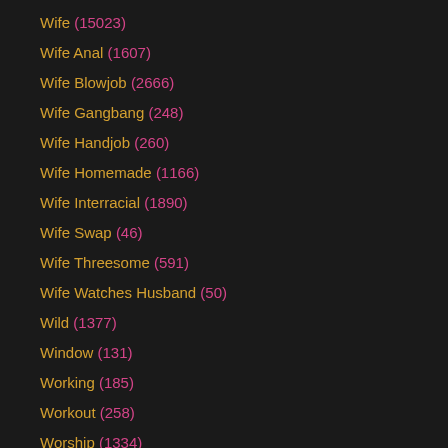Wife (15023)
Wife Anal (1607)
Wife Blowjob (2666)
Wife Gangbang (248)
Wife Handjob (260)
Wife Homemade (1166)
Wife Interracial (1890)
Wife Swap (46)
Wife Threesome (591)
Wife Watches Husband (50)
Wild (1377)
Window (131)
Working (185)
Workout (258)
Worship (1334)